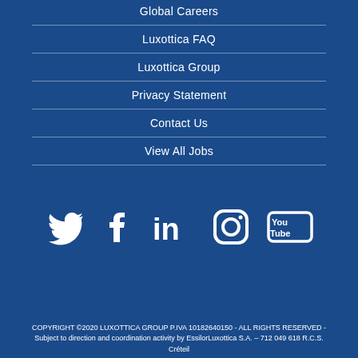Global Careers
Luxottica FAQ
Luxottica Group
Privacy Statement
Contact Us
View All Jobs
[Figure (infographic): Social media icons: Twitter, Facebook, LinkedIn, Instagram, YouTube]
COPYRIGHT ©2020 LUXOTTICA GROUP P.IVA 10182640150 - ALL RIGHTS RESERVED - Subject to direction and coordination activity by EssilorLuxottica S.A. – 712 049 618 R.C.S. Créteil